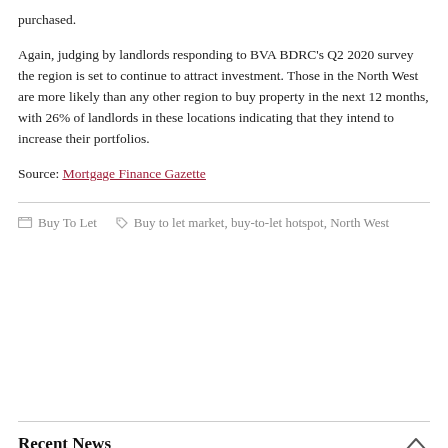purchased.
Again, judging by landlords responding to BVA BDRC's Q2 2020 survey the region is set to continue to attract investment. Those in the North West are more likely than any other region to buy property in the next 12 months, with 26% of landlords in these locations indicating that they intend to increase their portfolios.
Source: Mortgage Finance Gazette
Buy To Let   Buy to let market, buy-to-let hotspot, North West
Recent News